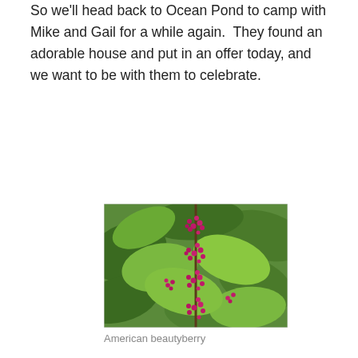So we'll head back to Ocean Pond to camp with Mike and Gail for a while again.  They found an adorable house and put in an offer today, and we want to be with them to celebrate.
[Figure (photo): A photo of an American beautyberry plant with clusters of small bright pink/purple berries along a stem, surrounded by large green leaves.]
American beautyberry